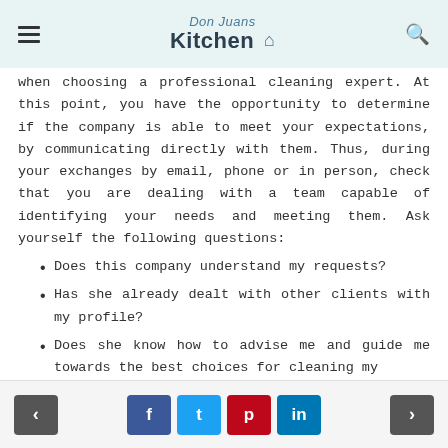Don Juans Kitchen
when choosing a professional cleaning expert. At this point, you have the opportunity to determine if the company is able to meet your expectations, by communicating directly with them. Thus, during your exchanges by email, phone or in person, check that you are dealing with a team capable of identifying your needs and meeting them. Ask yourself the following questions:
Does this company understand my requests?
Has she already dealt with other clients with my profile?
Does she know how to advise me and guide me towards the best choices for cleaning my
< f t p in >